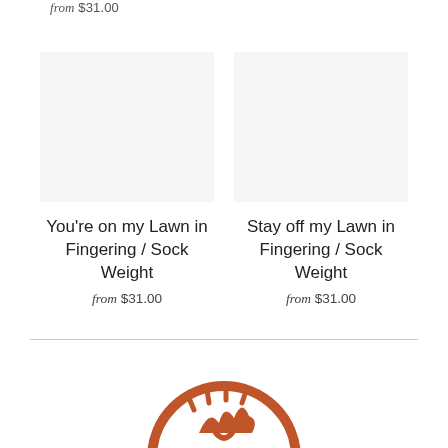from $31.00
You're on my Lawn in Fingering / Sock Weight
from $31.00
Stay off my Lawn in Fingering / Sock Weight
from $31.00
[Figure (logo): Circular orange/rust logo with a hand or paw graphic inside, partially visible at bottom of page]